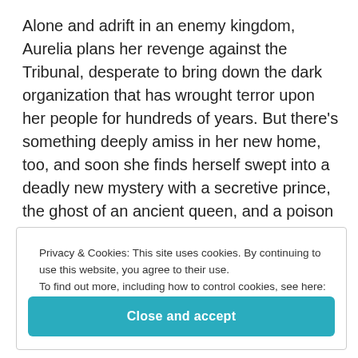Alone and adrift in an enemy kingdom, Aurelia plans her revenge against the Tribunal, desperate to bring down the dark organization that has wrought terror upon her people for hundreds of years. But there's something deeply amiss in her new home, too, and soon she finds herself swept into a deadly new mystery with a secretive prince, the ghost of an ancient queen, and a poison vine called Bloodleaf.
Privacy & Cookies: This site uses cookies. By continuing to use this website, you agree to their use.
To find out more, including how to control cookies, see here:
Cookie Policy
Close and accept